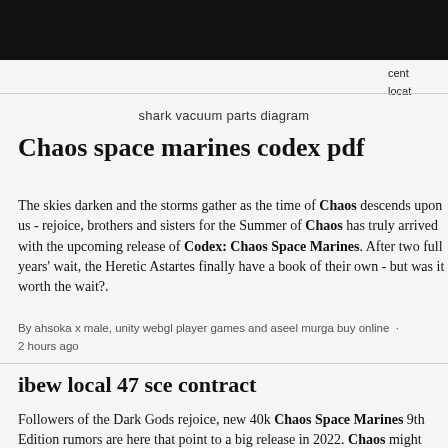shark vacuum parts diagram
cent
locat
Chaos space marines codex pdf
The skies darken and the storms gather as the time of Chaos descends upon us - rejoice, brothers and sisters for the Summer of Chaos has truly arrived with the upcoming release of Codex: Chaos Space Marines. After two full years' wait, the Heretic Astartes finally have a book of their own - but was it worth the wait?.
By ahsoka x male, unity webgl player games and aseel murga buy online · 2 hours ago
ibew local 47 sce contract
Followers of the Dark Gods rejoice, new 40k Chaos Space Marines 9th Edition rumors are here that point to a big release in 2022. Chaos might have a big year coming in 2022 now that is supported